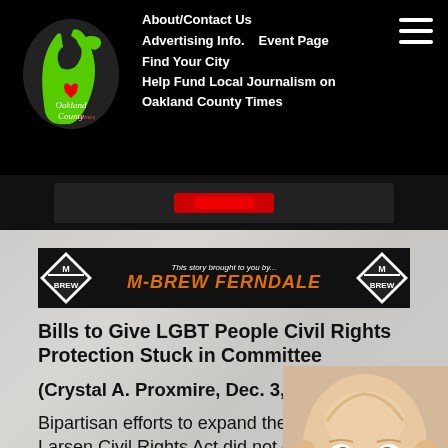Oakland County Times — Navigation: About/Contact Us | Advertising Info. | Event Page | Find Your City | Help Fund Local Journalism on Oakland County Times
[Figure (logo): Oakland County Times logo with green Michigan mitten graphic and red heart]
[Figure (infographic): M-BREW Ferndale advertisement banner — 'This story brought to you by... M-BREW FERNDALE' in orange text on black background with M-BREW diamond logos on each side]
Bills to Give LGBT People Civil Rights Protection Stuck in Committee
(Crystal A. Proxmire, Dec. 3, 2014)
Bipartisan efforts to expand the Elliott-Larsen Civil Rights Act did not get enough votes in a committee hearing today
[Figure (photo): Close-up photo of a smiling baby with brown eyes]